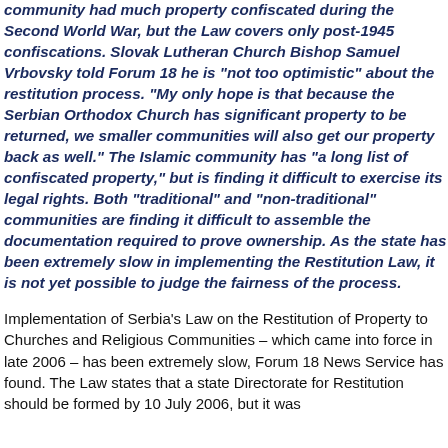community had much property confiscated during the Second World War, but the Law covers only post-1945 confiscations. Slovak Lutheran Church Bishop Samuel Vrbovsky told Forum 18 he is "not too optimistic" about the restitution process. "My only hope is that because the Serbian Orthodox Church has significant property to be returned, we smaller communities will also get our property back as well." The Islamic community has "a long list of confiscated property," but is finding it difficult to exercise its legal rights. Both "traditional" and "non-traditional" communities are finding it difficult to assemble the documentation required to prove ownership. As the state has been extremely slow in implementing the Restitution Law, it is not yet possible to judge the fairness of the process.
Implementation of Serbia's Law on the Restitution of Property to Churches and Religious Communities – which came into force in late 2006 – has been extremely slow, Forum 18 News Service has found. The Law states that a state Directorate for Restitution should be formed by 10 July 2006, but it was